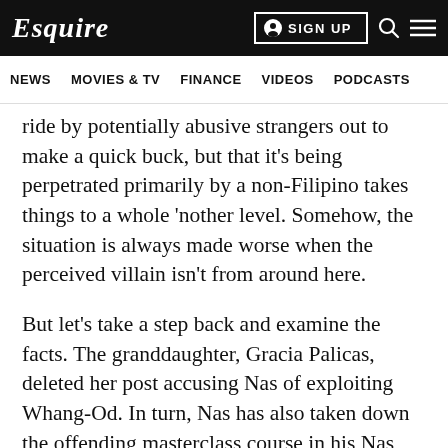Esquire | SIGN UP
NEWS  MOVIES & TV  FINANCE  VIDEOS  PODCASTS
ride by potentially abusive strangers out to make a quick buck, but that it's being perpetrated primarily by a non-Filipino takes things to a whole 'nother level. Somehow, the situation is always made worse when the perceived villain isn't from around here.
But let's take a step back and examine the facts. The granddaughter, Gracia Palicas, deleted her post accusing Nas of exploiting Whang-Od. In turn, Nas has also taken down the offending masterclass course in his Nas Academy platform. On Thursday (August 5), Nas, through the Nas Academy Facebook page, issued a rather lengthy statement